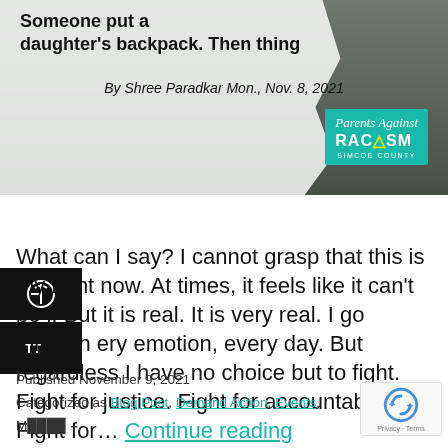[Figure (photo): Article header image showing a photo with overlaid torn paper effect. Text reads: 'Someone put a [something] daughter's backpack. Then thing[s] [happened]' with byline 'By Shree Paradkar Mon., Nov. 8, 2021'. A teal badge reads 'Parents Against RACISM SIMCOE COUNTY'.]
What can I say? I cannot grasp that this is my right now. At times, it feels like it can't be l. But it is real. It is very real. I go through ery emotion, every day. But regardless I have no choice but to fight. Fight for justice. Fight for accountability. Fight for… Continue reading
Published November 9, 2021
Categorized as Blog Post, Demand Action, Events, M...